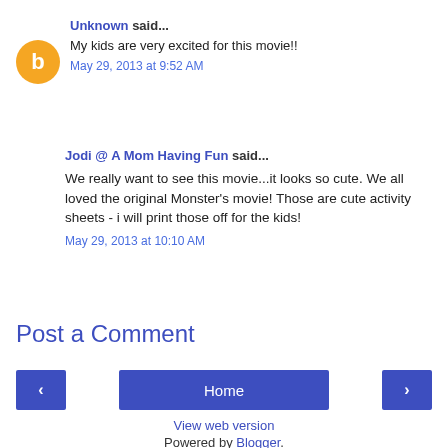Unknown said...
My kids are very excited for this movie!!
May 29, 2013 at 9:52 AM
Jodi @ A Mom Having Fun said...
We really want to see this movie...it looks so cute. We all loved the original Monster's movie! Those are cute activity sheets - i will print those off for the kids!
May 29, 2013 at 10:10 AM
Post a Comment
Home
View web version
Powered by Blogger.